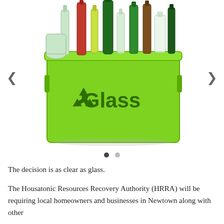[Figure (photo): A bright green recycling bin labeled 'Glass' with a recycling symbol, overflowing with various glass bottles in different colors (green, red, brown, clear). Navigation arrows (left and right) flank the image, and two pagination dots appear below the image.]
The decision is as clear as glass.
The Housatonic Resources Recovery Authority (HRRA) will be requiring local homeowners and businesses in Newtown along with other